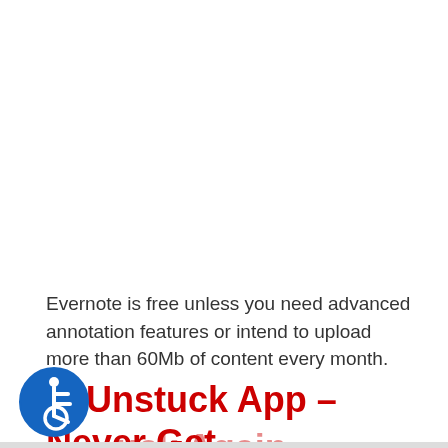Evernote is free unless you need advanced annotation features or intend to upload more than 60Mb of content every month.
5. Unstuck App – Never Get Stuck Again